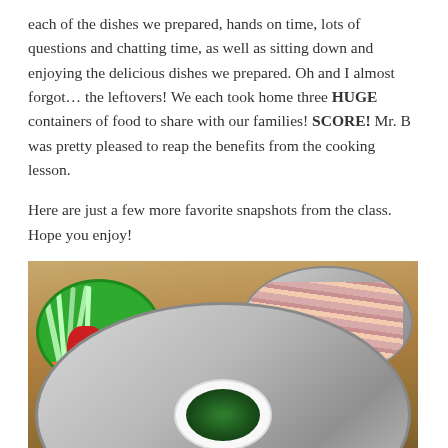each of the dishes we prepared, hands on time, lots of questions and chatting time, as well as sitting down and enjoying the delicious dishes we prepared. Oh and I almost forgot… the leftovers! We each took home three HUGE containers of food to share with our families! SCORE! Mr. B was pretty pleased to reap the benefits from the cooking lesson.
Here are just a few more favorite snapshots from the class. Hope you enjoy!
[Figure (photo): Kitchen scene with cooking ingredients: a green bowl with spring onions and red bell pepper, a cleaver/knife, a silver bowl with sliced raw meat (pork belly), a large silver pan in the foreground, and a small white bowl with cooked dark green leafy vegetables (spinach) placed inside the pan.]